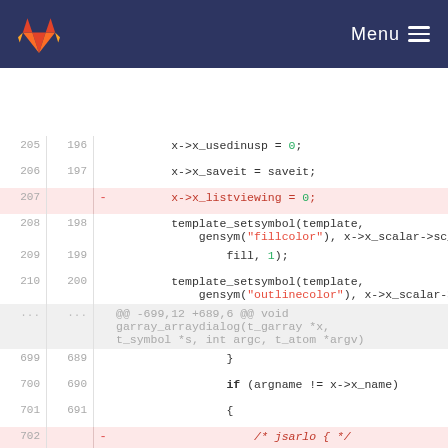[Figure (screenshot): GitLab navigation header with fox logo and Menu button]
Code diff view showing lines 205-705 of a C source file with removed lines highlighted in pink, including x->x_listviewing = 0; removal and jsarlo block removal
... ... @@ -699,12 +689,6 @@ void garray_arraydialog(t_garray *x, t_symbol *s, int argc, t_atom *argv)